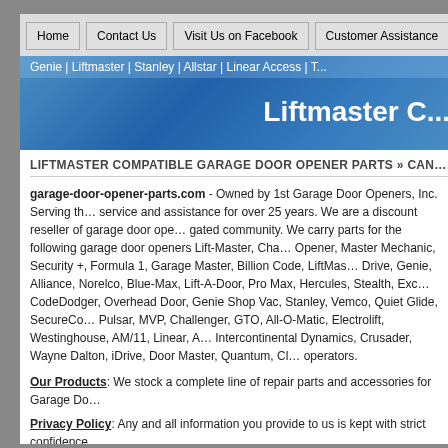Home | Contact Us | Visit Us on Facebook | Customer Assistance
Genie | Liftmaster | Stanley | Allstar | Linear Access | T...
Liftmaster C...
LIFTMASTER COMPATIBLE GARAGE DOOR OPENER PARTS » CANC...
garage-door-opener-parts.com - Owned by 1st Garage Door Openers, Inc. Serving the service and assistance for over 25 years. We are a discount reseller of garage door openers gated community. We carry parts for the following garage door openers Lift-Master, Cha... Opener, Master Mechanic, Security +, Formula 1, Garage Master, Billion Code, LiftMas... Drive, Genie, Alliance, Norelco, Blue-Max, Lift-A-Door, Pro Max, Hercules, Stealth, Exco... CodeDodger, Overhead Door, Genie Shop Vac, Stanley, Vemco, Quiet Glide, SecureCo... Pulsar, MVP, Challenger, GTO, All-O-Matic, Electrolift, Westinghouse, AM/11, Linear, Ad... Intercontinental Dynamics, Crusader, Wayne Dalton, iDrive, Door Master, Quantum, Cl... operators.
Our Products: We stock a complete line of repair parts and accessories for Garage Do...
Privacy Policy: Any and all information you provide to us is kept with strict confidence.
Security: Our On-Line shopping cart software uses the highest level of Internet SSL...